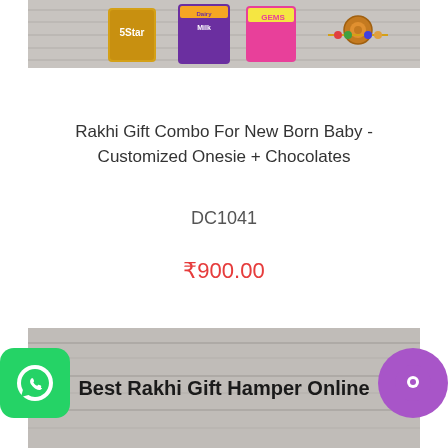[Figure (photo): Product image showing Cadbury chocolates (5Star, Dairy Milk, Gems) and a rakhi bracelet on wooden background]
Rakhi Gift Combo For New Born Baby - Customized Onesie + Chocolates
DC1041
₹900.00
[Figure (photo): Banner image with text 'Best Rakhi Gift Hamper Online' on wooden background, with WhatsApp button on left and chat button on right]